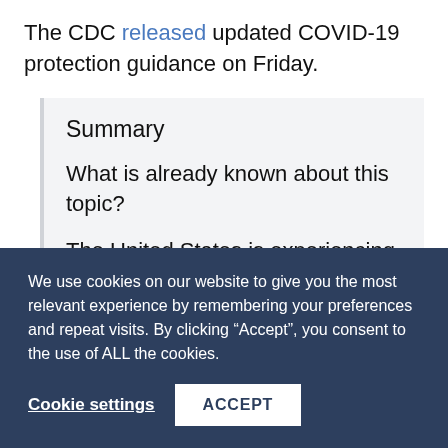The CDC released updated COVID-19 protection guidance on Friday.
Summary
What is already known about this topic?
The United States is experiencing high levels of SARS-CoV-2 transmission.
We use cookies on our website to give you the most relevant experience by remembering your preferences and repeat visits. By clicking “Accept”, you consent to the use of ALL the cookies.